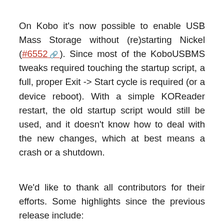On Kobo it's now possible to enable USB Mass Storage without (re)starting Nickel (#6552🔗). Since most of the KoboUSBMS tweaks required touching the startup script, a full, proper Exit -> Start cycle is required (or a device reboot). With a simple KOReader restart, the old startup script would still be used, and it doesn't know how to deal with the new changes, which at best means a crash or a shutdown.
We'd like to thank all contributors for their efforts. Some highlights since the previous release include: